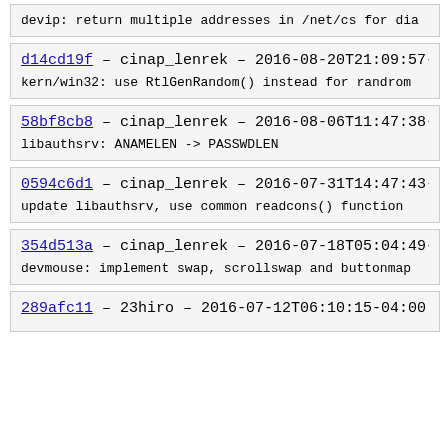devip: return multiple addresses in /net/cs for dia
d14cd19f – cinap_lenrek – 2016-08-20T21:09:57-04:00
kern/win32: use RtlGenRandom() instead for randrom
58bf8cb8 – cinap_lenrek – 2016-08-06T11:47:38-04:00
libauthsrv: ANAMELEN -> PASSWDLEN
0594c6d1 – cinap_lenrek – 2016-07-31T14:47:43-04:00
update libauthsrv, use common readcons() function
354d513a – cinap_lenrek – 2016-07-18T05:04:49-04:00
devmouse: implement swap, scrollswap and buttonmap
289afc11 – 23hiro – 2016-07-12T06:10:15-04:00